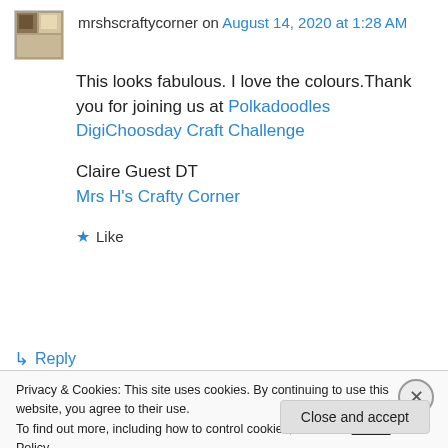mrshscraftycorner on August 14, 2020 at 1:28 AM
This looks fabulous. I love the colours.Thank you for joining us at Polkadoodles DigiChoosday Craft Challenge

Claire Guest DT
Mrs H's Crafty Corner
★ Like
↳ Reply
Privacy & Cookies: This site uses cookies. By continuing to use this website, you agree to their use.
To find out more, including how to control cookies, see here: Cookie Policy
Close and accept